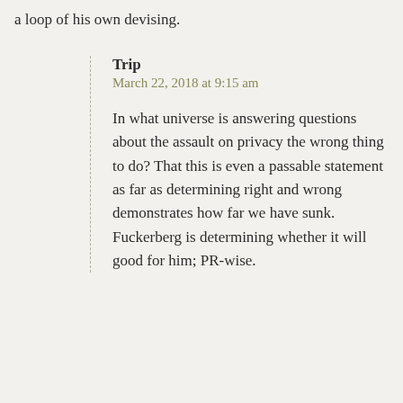a loop of his own devising.
Trip
March 22, 2018 at 9:15 am
In what universe is answering questions about the assault on privacy the wrong thing to do? That this is even a passable statement as far as determining right and wrong demonstrates how far we have sunk. Fuckerberg is determining whether it will good for him; PR-wise.